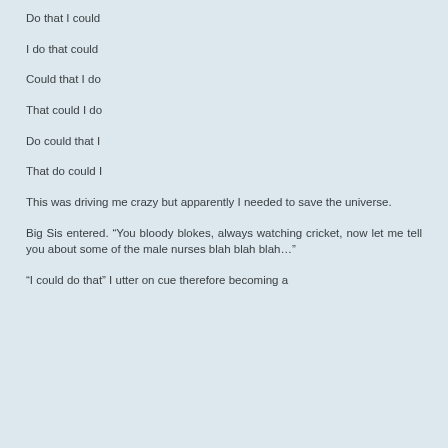Do that I could
I do that could
Could that I do
That could I do
Do could that I
That do could I
This was driving me crazy but apparently I needed to save the universe.
Big Sis entered. “You bloody blokes, always watching cricket, now let me tell you about some of the male nurses blah blah blah…”
“I could do that” I utter on cue therefore becoming a